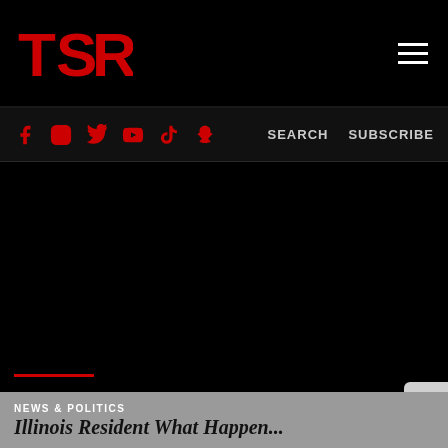TSR
SEARCH   SUBSCRIBE
[Figure (screenshot): Black background content area representing a video or image embed area on TSR website]
NEWS & POLITICS
Illinois Resident What Happen...